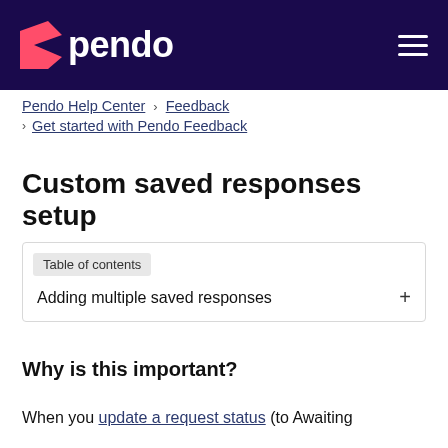pendo
Pendo Help Center › Feedback › Get started with Pendo Feedback
Custom saved responses setup
Table of contents
Adding multiple saved responses
Why is this important?
When you update a request status (to Awaiting